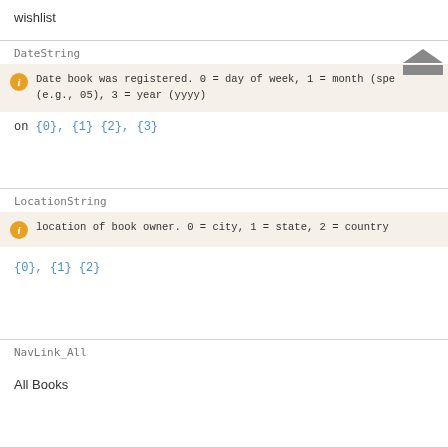wishlist
DateString
Date book was registered. 0 = day of week, 1 = month (spe (e.g., 05), 3 = year (yyyy)
on {0}, {1} {2}, {3}
LocationString
location of book owner. 0 = city, 1 = state, 2 = country
{0}, {1} {2}
NavLink_All
All Books